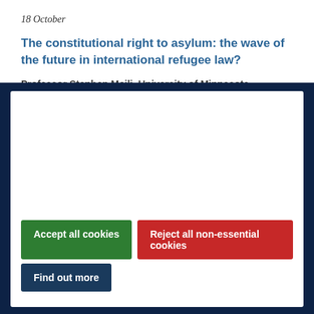18 October
The constitutional right to asylum: the wave of the future in international refugee law?
Professor Stephen Meili, University of Minnesota
[Figure (screenshot): Cookie consent overlay dialog with white box on dark navy background, containing Accept all cookies (green), Reject all non-essential cookies (red), and Find out more (dark blue) buttons.]